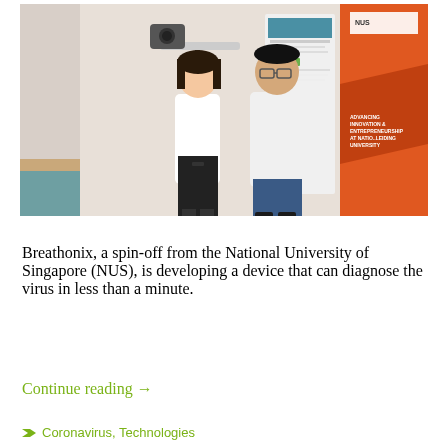[Figure (photo): Two researchers in white polo shirts standing in a lab/exhibition room next to medical equipment on a stand. An orange NUS (National University of Singapore) banner is visible on the right. A medical/scientific poster is visible in the background.]
Breathonix, a spin-off from the National University of Singapore (NUS), is developing a device that can diagnose the virus in less than a minute.
Continue reading →
Coronavirus, Technologies